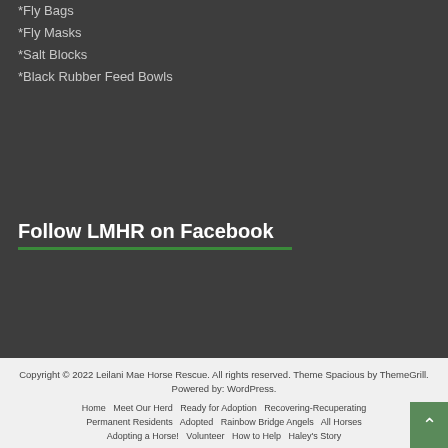*Fly Bags
*Fly Masks
*Salt Blocks
*Black Rubber Feed Bowls
Follow LMHR on Facebook
Copyright © 2022 Leilani Mae Horse Rescue. All rights reserved. Theme Spacious by ThemeGrill. Powered by: WordPress. Home | Meet Our Herd | Ready for Adoption | Recovering-Recuperating | Permanent Residents | Adopted | Rainbow Bridge Angels | All Horses | Adopting a Horse! | Volunteer | How to Help | Haley's Story